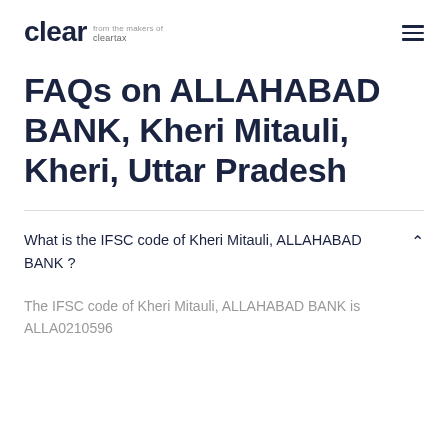clear from the makers of cleartax
FAQs on ALLAHABAD BANK, Kheri Mitauli, Kheri, Uttar Pradesh
What is the IFSC code of Kheri Mitauli, ALLAHABAD BANK ?
The IFSC code of Kheri Mitauli, ALLAHABAD BANK is ALLA0210596